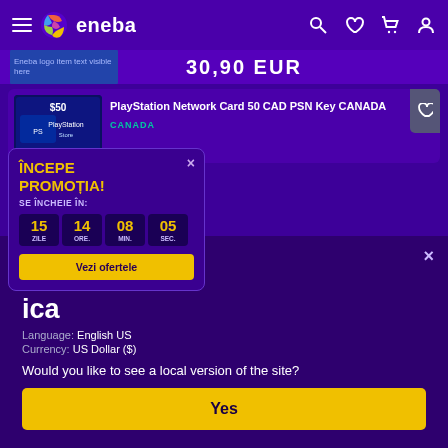eneba
30,90 EUR
PlayStation Network Card 50 CAD PSN Key CANADA
CANADA
ÎNCEPE PROMOȚIA!
SE ÎNCHEIE ÎN:
15 ZILE. 14 ORE. 08 MIN. 05 SEC.
Vezi ofertele
e in
d States of
ica
Language: English US
Currency: US Dollar ($)
Would you like to see a local version of the site?
Yes